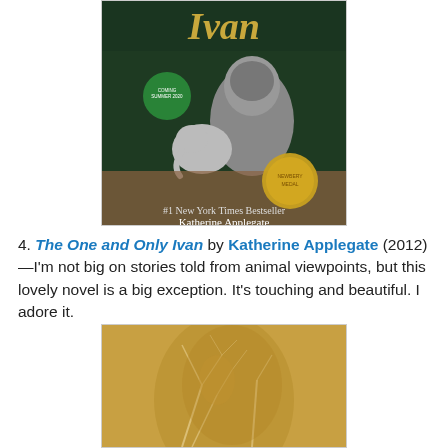[Figure (photo): Book cover of 'The One and Only Ivan' by Katherine Applegate, showing a gorilla and small elephant, with a Newbery Medal and 'Coming Summer 2020' badge]
4. The One and Only Ivan by Katherine Applegate (2012)—I'm not big on stories told from animal viewpoints, but this lovely novel is a big exception. It's touching and beautiful. I adore it.
[Figure (photo): Book cover image — tan/gold toned illustration showing a face partially visible among tree branches]